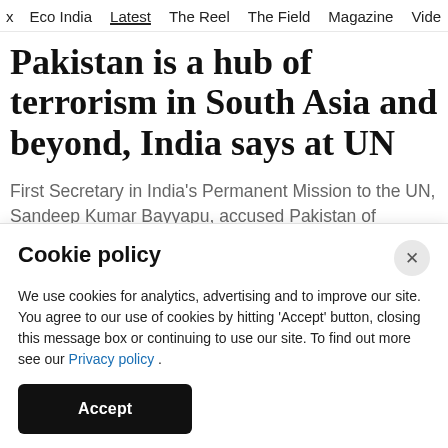x  Eco India  Latest  The Reel  The Field  Magazine  Vide
Pakistan is a hub of terrorism in South Asia and beyond, India says at UN
First Secretary in India's Permanent Mission to the UN, Sandeep Kumar Bayyapu, accused Pakistan of attempting to spread a false narrative about Kashmir.
Cookie policy
We use cookies for analytics, advertising and to improve our site. You agree to our use of cookies by hitting 'Accept' button, closing this message box or continuing to use our site. To find out more see our Privacy policy .
Accept